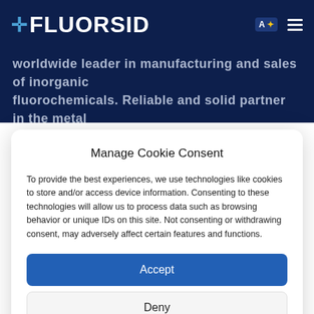FLUORSID
worldwide leader in manufacturing and sales of inorganic fluorochemicals. Reliable and solid partner in the metal
Manage Cookie Consent
To provide the best experiences, we use technologies like cookies to store and/or access device information. Consenting to these technologies will allow us to process data such as browsing behavior or unique IDs on this site. Not consenting or withdrawing consent, may adversely affect certain features and functions.
Accept
Deny
View preferences
Cookie policy   Informativa sulla privacy   Imprint